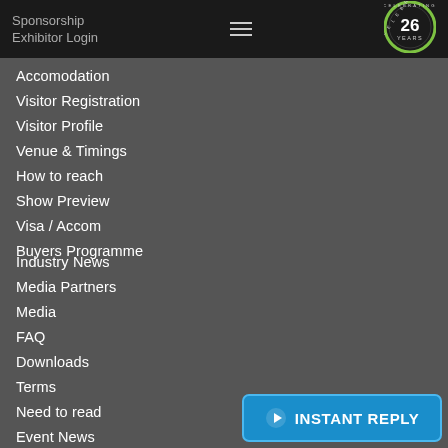Sponsorship  Exhibitor Login
Accomodation
Visitor Registration
Visitor Profile
Venue & Timings
How to reach
Show Preview
Visa / Accom
Buyers Programme
Industry News
Media Partners
Media
FAQ
Downloads
Terms
Need to read
Event News
Post Show Report
Photo Gallery
[Figure (logo): Celebrating 26 Years circular logo badge, dark background with green ring]
[Figure (other): INSTANT REPLY button, blue with arrow icon]